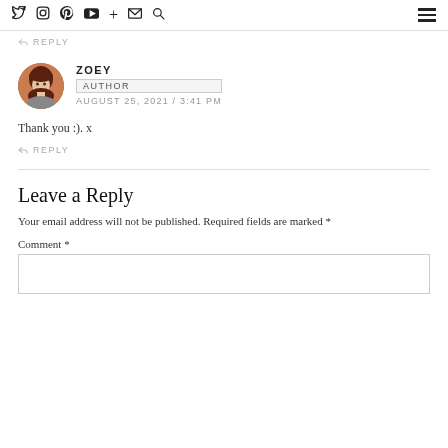Twitter Instagram Pinterest YouTube + Email Search [hamburger menu]
↩ REPLY
ZOEY
AUTHOR
AUGUST 25, 2021 / 3:41 PM
Thank you :). x
↩ REPLY
Leave a Reply
Your email address will not be published. Required fields are marked *
Comment *